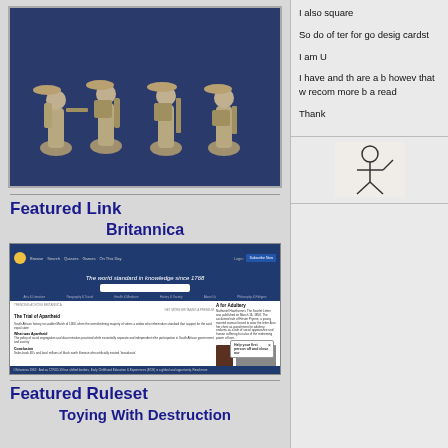[Figure (photo): Four medieval miniature figures/toy soldiers on a blue background]
Featured Link
Britannica
[Figure (screenshot): Screenshot of the Britannica website showing 'The world standard in knowledge since 1768' with search bar, article about The Trial of Apartheid and A for Adultery]
Featured Ruleset
Toying With Destruction
I also square
So do of ter for go desig cardst
I am U
I have and th are a however that w recom more b a read
Thank